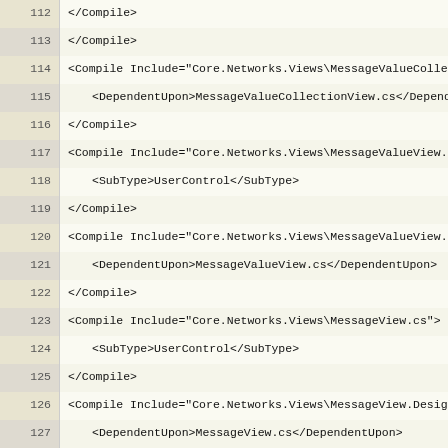112-139: XML code listing showing Compile Include elements for Core.Networks.Views
113: </Compile>
114: <Compile Include="Core.Networks.Views\MessageValueCollec...
115:     <DependentUpon>MessageValueCollectionView.cs</Dependen...
116: </Compile>
117: <Compile Include="Core.Networks.Views\MessageValueView.c...
118:     <SubType>UserControl</SubType>
119: </Compile>
120: <Compile Include="Core.Networks.Views\MessageValueView.D...
121:     <DependentUpon>MessageValueView.cs</DependentUpon>
122: </Compile>
123: <Compile Include="Core.Networks.Views\MessageView.cs">
124:     <SubType>UserControl</SubType>
125: </Compile>
126: <Compile Include="Core.Networks.Views\MessageView.Design...
127:     <DependentUpon>MessageView.cs</DependentUpon>
128: </Compile>
129: <Compile Include="Core.Networks.Views\NetworkItemSelecto...
130:     <SubType>UserControl</SubType>
131: </Compile>
132: <Compile Include="Core.Networks.Views\NetworkItemSelecto...
133:     <DependentUpon>NetworkItemSelector.cs</DependentUpon>
134: </Compile>
135: <Compile Include="Core.Networks.Views\NetworkItemSelecto...
136:     <SubType>Form</SubType>
137: </Compile>
138: <Compile Include="Core.Networks.Views\NetworkItemSelecto...
139:     <DependentUpon>NetworkItemSelectorDialog.cs</Dependen...